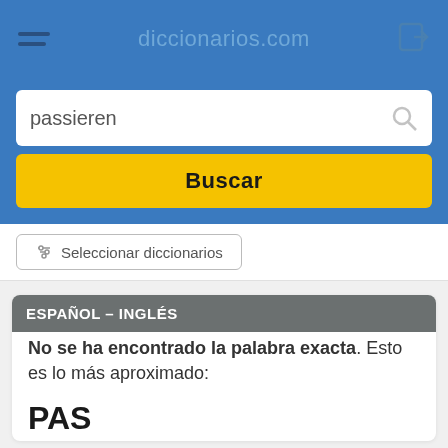diccionarios.com
passieren
Buscar
Seleccionar diccionarios
ESPAÑOL – INGLÉS
No se ha encontrado la palabra exacta. Esto es lo más aproximado:
PAS